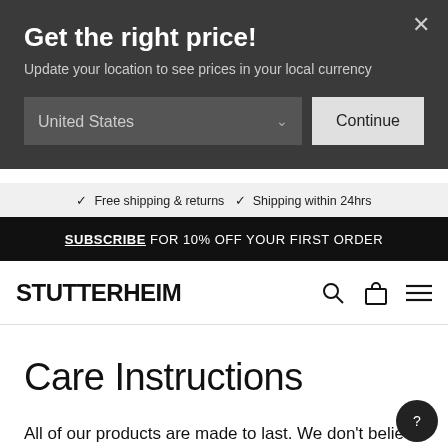Get the right price!
Update your location to see prices in your local currency
United States
Continue
✓ Free shipping & returns ✓ Shipping within 24hrs
SUBSCRIBE FOR 10% OFF YOUR FIRST ORDER
STUTTERHEIM
Care Instructions
All of our products are made to last. We don't believe in the fast-paced consumption patterns of today, where a garment can, and is almost expected to be, replaced every other season.